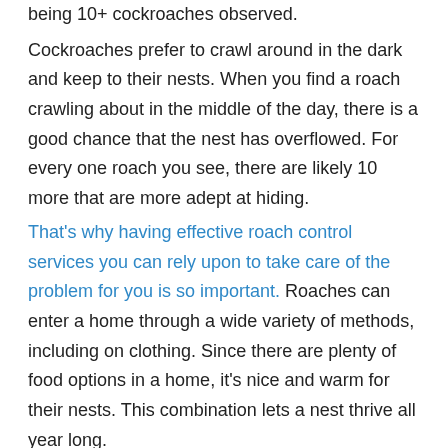being 10+ cockroaches observed.
Cockroaches prefer to crawl around in the dark and keep to their nests. When you find a roach crawling about in the middle of the day, there is a good chance that the nest has overflowed. For every one roach you see, there are likely 10 more that are more adept at hiding.
That's why having effective roach control services you can rely upon to take care of the problem for you is so important. Roaches can enter a home through a wide variety of methods, including on clothing. Since there are plenty of food options in a home, it's nice and warm for their nests. This combination lets a nest thrive all year long.
Why hire a professional to eliminate your roach problem? Here are 3 key facts to consider.
• Most insecticides will not kill roach eggs. The nest and the eggs must be eliminate to control this pest.
• Roaches trigger allergies. Hunting down roaches may trigger severe allergies through the pest's droppings and casings.